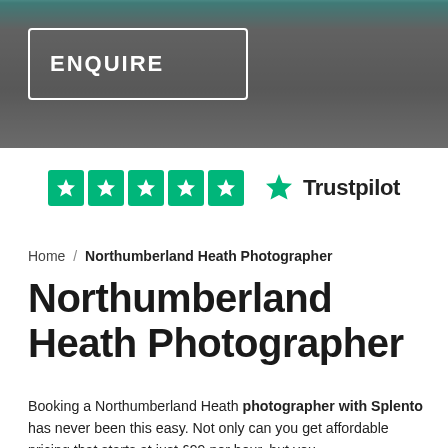[Figure (photo): Hero image with dark overlay showing architectural/urban background with an ENQUIRE button in a white-bordered rectangle]
[Figure (logo): Trustpilot rating showing 5 green star boxes and the Trustpilot logo with a green star]
Home / Northumberland Heath Photographer
Northumberland Heath Photographer
Booking a Northumberland Heath photographer with Splento has never been this easy. Not only can you get affordable pricing that starts at just £99 per hour, but you